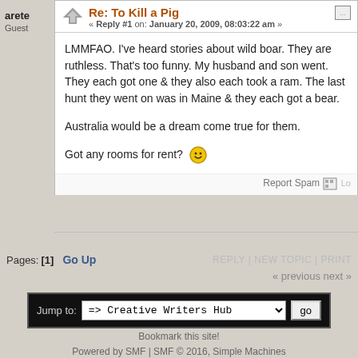arete
Guest
Re: To Kill a Pig
« Reply #1 on: January 20, 2009, 08:03:22 am »
LMMFAO.  I've heard stories about wild boar.  They are ruthless.  That's too funny.  My husband and son went.  They each got one & they also each took a ram.  The last hunt they went on was in Maine & they each got a bear.

Australia would be a dream come true for them.

Got any rooms for rent? 😊
Report Spam   Lo
Pages: [1]   Go Up
REPLY | NEW TOPIC | PRINT
« previous next »
Jump to:  => Creative Writers Hub   go
Bookmark this site!
Powered by SMF | SMF © 2016, Simple Machines
Privacy Policy